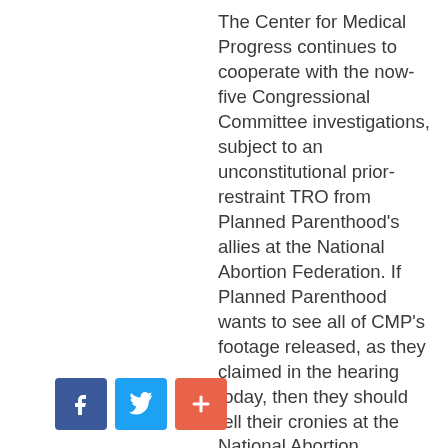The Center for Medical Progress continues to cooperate with the now-five Congressional Committee investigations, subject to an unconstitutional prior-restraint TRO from Planned Parenthood's allies at the National Abortion Federation. If Planned Parenthood wants to see all of CMP's footage released, as they claimed in the hearing today, then they should tell their cronies at the National Abortion Federation to back down from their unconstitutional suppression of First Amendment rights to free speech and citizen journalism.
[Figure (other): Social media sharing icons: Facebook (blue), Twitter (light blue), and a red/orange plus/share button]